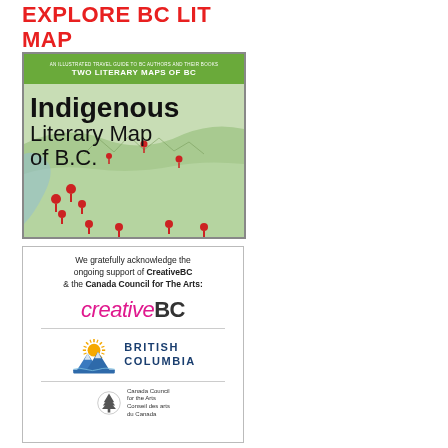EXPLORE BC LIT MAP
[Figure (illustration): Cover image of 'Two Literary Maps of BC' featuring 'Indigenous Literary Map of B.C.' with a green header bar and a map background showing BC with red location pins]
[Figure (illustration): Sponsor acknowledgement box containing text 'We gratefully acknowledge the ongoing support of CreativeBC & the Canada Council for The Arts:' followed by the CreativeBC logo, a divider, the British Columbia government sun/mountain logo with 'BRITISH COLUMBIA' text, another divider, and the Canada Council for the Arts / Conseil des arts du Canada logo with tree icon]